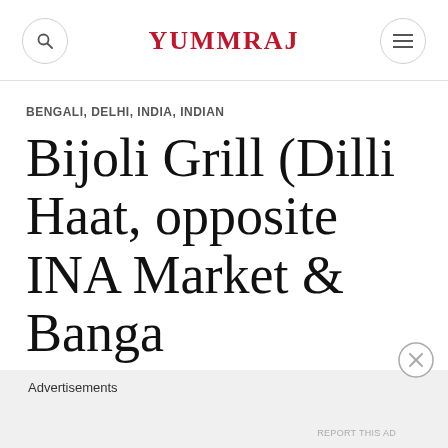YUMMRAJ
BENGALI, DELHI, INDIA, INDIAN
Bijoli Grill (Dilli Haat, opposite INA Market & Banga Bhojanalaya, Delhi)
Advertisements